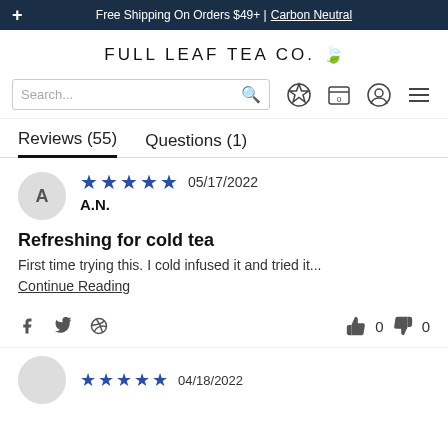+ Free Shipping On Orders $49+ | Carbon Neutral
FULL LEAF TEA CO.
Search...
Reviews (55)    Questions (1)
★★★★★ 05/17/2022
A.N.
Refreshing for cold tea
First time trying this. I cold infused it and tried it... Continue Reading
f  t  p   👍 0  👎 0